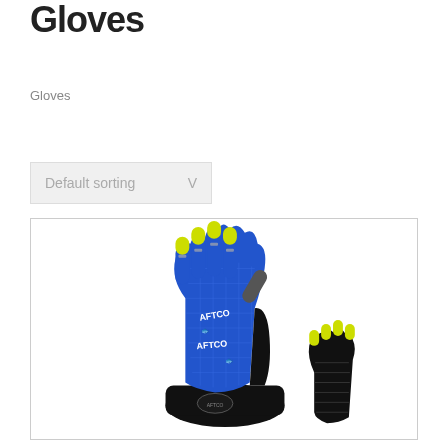Gloves
Gloves
Default sorting V
[Figure (photo): Product photo of blue and black AFTCO branded fishing gloves with yellow accents, showing two gloves — one full glove displayed back-of-hand up, and one showing the fingertip area.]